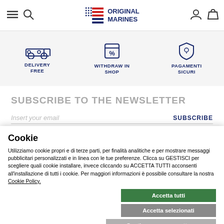Original Marines — navigation header with hamburger, search, logo, account and cart icons
[Figure (infographic): Three service icons: Delivery Free (car icon), Withdraw in Shop (store/percent icon), Pagamenti Sicuri (shield/location icon)]
SUBSCRIBE TO THE NEWSLETTER
Insert your email   SUBSCRIBE
Cookie
Utilizziamo cookie propri e di terze parti, per finalità analitiche e per mostrare messaggi pubblicitari personalizzati e in linea con le tue preferenze. Clicca su GESTISCI per scegliere quali cookie installare, invece cliccando su ACCETTA TUTTI acconsenti all'installazione di tutti i cookie. Per maggiori informazioni è possibile consultare la nostra Cookie Policy.
Accetta tutti
Accetta selezionati
Continua senza accettare